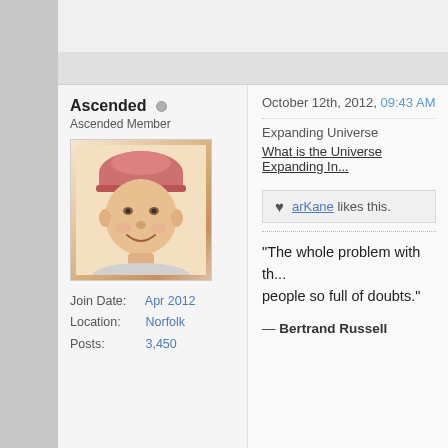Ascended ○
Ascended Member
[Figure (photo): Profile avatar photo of a person wearing a pink/red beanie hat, smiling, shown from the shoulders up against a light background]
Join Date: Apr 2012
Location: Norfolk
Posts: 3,450
October 12th, 2012, 09:43 AM
Expanding Universe
What is the Universe Expanding In...
arKane likes this.
“The whole problem with th... people so full of doubts.”
— Bertrand Russell